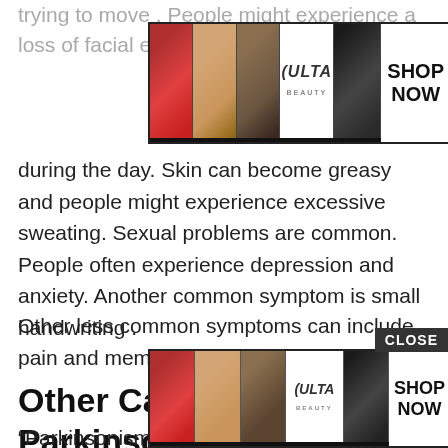trying to move . People might experience a loss of facial expressions, bowel and bla...s
[Figure (screenshot): ULTA beauty advertisement banner showing makeup images (lips, brush, eye, logo) with SHOP NOW button]
during the day. Skin can become greasy and people might experience excessive sweating. Sexual problems are common. People often experience depression and anxiety. Another common symptom is small handwriting .
Other less common symptoms can include pain and memory problems.
Other Causes Of Parkinsonism
“Parkinsonism” is the umbrella term used to describe the symptoms of tremors, muscle rigidity and slowness of movement...
[Figure (screenshot): ULTA beauty advertisement banner at bottom showing makeup images with SHOP NOW button and CLOSE button]